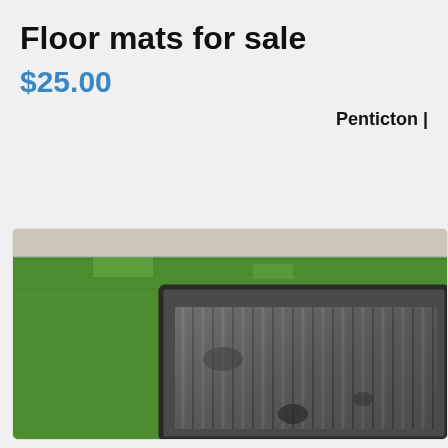Floor mats for sale
$25.00
Penticton |
[Figure (photo): A rubber floor mat with ribbed/slatted surface placed on green artificial grass/turf, viewed from above. The mat is dark gray/black with vertical ridges and shows some dirt/wear marks.]